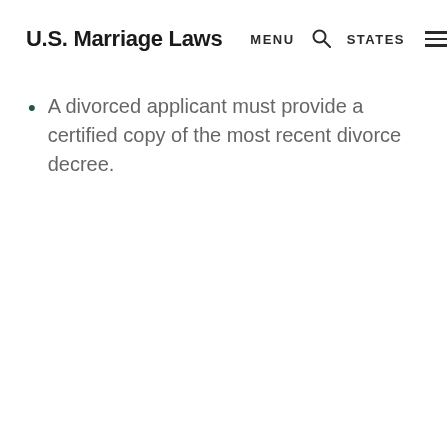U.S. Marriage Laws  MENU  STATES
A divorced applicant must provide a certified copy of the most recent divorce decree.